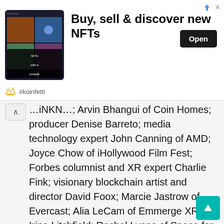[Figure (screenshot): Advertisement banner for koinfetti NFT platform showing a dark-themed app screenshot with NFT grid images, headline 'Buy, sell & discover new NFTs', and an Open button. Bottom shows #koinfetti branding with logo.]
…INKR…; Arvin Bhangui of Coin Homes; producer Denise Barreto; media technology expert John Canning of AMD; Joyce Chow of iHollywood Film Fest; Forbes columnist and XR expert Charlie Fink; visionary blockchain artist and director David Foox; Marcie Jastrow of Evercast; Alia LeCam of Emmerge XR; Irina Litchfield; Rachel Lyons of Space for Humanity; John Maatta of WizardWorld; RAIR Technologies CTO Garrett Minks; Amanda Pool of Elysian Events; Wormhole Labs CEO Phil Ranta; Eric Salwan of FireFly; Dan Schutter, CEO of Space Interactions; Eric Shamlin, EVP Global Head of Entertainment at MediaMonks; Seth Shapiro of D[a]²: Digital Asset Advisors; Jake Steinerman of Spatial.io; Mauricio Terán of Emmerge XR; Mered…